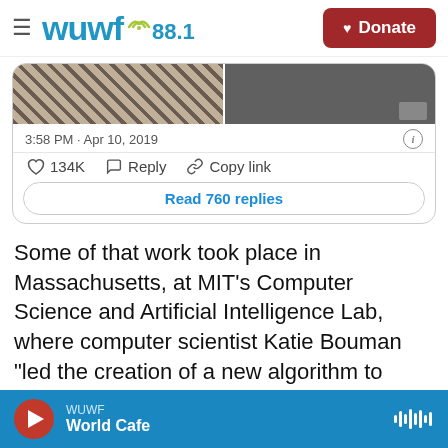WUWF 88.1 — Donate
[Figure (screenshot): Twitter/X tweet card showing two side-by-side images (striped metallic texture left, dark photo right), timestamp '3:58 PM · Apr 10, 2019', like count '134K', Reply and Copy link actions, and a 'Read 760 replies' button]
Some of that work took place in Massachusetts, at MIT's Computer Science and Artificial Intelligence Lab, where computer scientist Katie Bouman "led the creation of a new algorithm to produce the first-ever image of a black hole," the lab said Wednesday.
WUWF — World Cafe